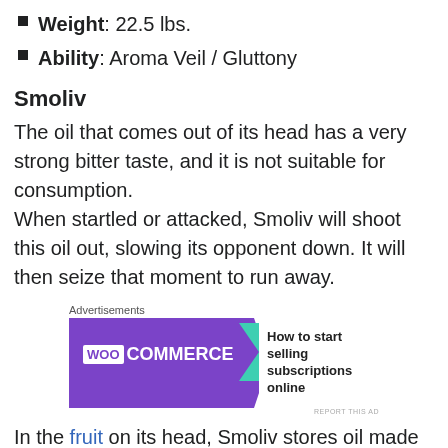Weight: 22.5 lbs.
Ability: Aroma Veil / Gluttony
Smoliv
The oil that comes out of its head has a very strong bitter taste, and it is not suitable for consumption.
When startled or attacked, Smoliv will shoot this oil out, slowing its opponent down. It will then seize that moment to run away.
[Figure (other): WooCommerce advertisement banner: 'How to start selling subscriptions online']
In the fruit on its head, Smoliv stores oil made from nutrients it gathers through photosynthesis. As a result, it can go for a week without eating or drinking. It prefers dry and sunny climates, and it seems to spend its days